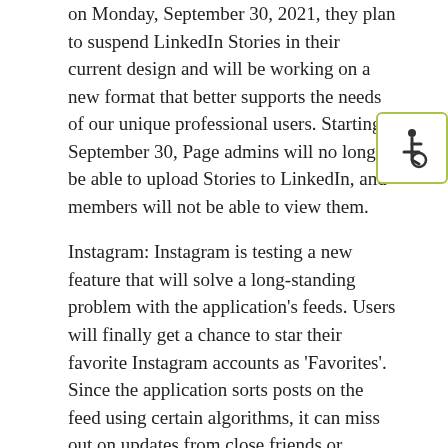on Monday, September 30, 2021, they plan to suspend LinkedIn Stories in their current design and will be working on a new format that better supports the needs of our unique professional users. Starting September 30, Page admins will no longer be able to upload Stories to LinkedIn, and members will not be able to view them.
[Figure (illustration): Accessibility icon (wheelchair symbol) in a rounded rectangle with olive/yellow-green border]
Instagram: Instagram is testing a new feature that will solve a long-standing problem with the application's feeds. Users will finally get a chance to star their favorite Instagram accounts as 'Favorites'. Since the application sorts posts on the feed using certain algorithms, it can miss out on updates from close friends or relatives or even your favorite influencers. This new feature will